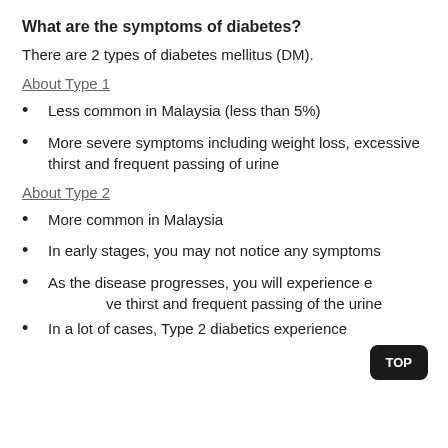What are the symptoms of diabetes?
There are 2 types of diabetes mellitus (DM).
About Type 1
Less common in Malaysia (less than 5%)
More severe symptoms including weight loss, excessive thirst and frequent passing of urine
About Type 2
More common in Malaysia
In early stages, you may not notice any symptoms
As the disease progresses, you will experience excessive thirst and frequent passing of the urine
In a lot of cases, Type 2 diabetics experience